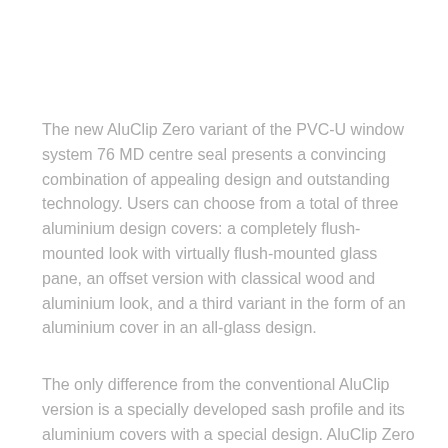The new AluClip Zero variant of the PVC-U window system 76 MD centre seal presents a convincing combination of appealing design and outstanding technology. Users can choose from a total of three aluminium design covers: a completely flush-mounted look with virtually flush-mounted glass pane, an offset version with classical wood and aluminium look, and a third variant in the form of an aluminium cover in an all-glass design.
The only difference from the conventional AluClip version is a specially developed sash profile and its aluminium covers with a special design. AluClip Zero also incorporates the familiar benefits of combined PVC-U